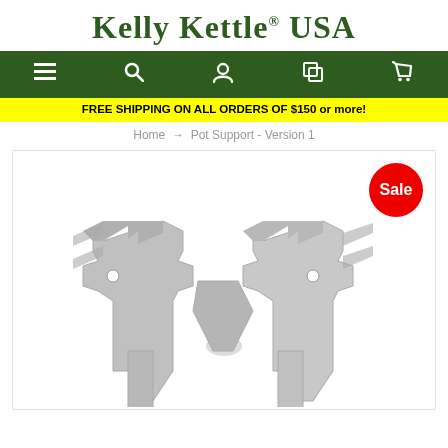Kelly Kettle® USA
[Figure (screenshot): Navigation bar with menu, search, account, copy, and cart icons on dark green background]
FREE SHIPPING ON ALL ORDERS OF $150 or more!
Home → Pot Support - Version 1
[Figure (photo): Stainless steel pot support Version 1 product photo showing two interlocking metal bracket pieces forming an X shape, with a Sale badge in the top right corner]